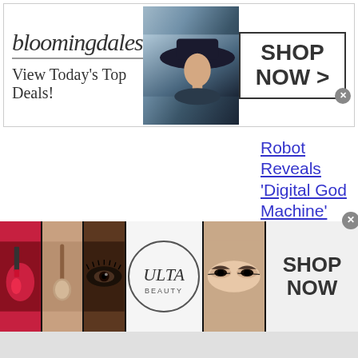[Figure (screenshot): Bloomingdales advertisement banner: logo, 'View Today's Top Deals!', woman with wide-brim hat, 'SHOP NOW >' button]
Robot Reveals 'Digital God Machine' Video
Miranda Lambert To Headline Gulf Coast Jam
[Figure (screenshot): Ulta Beauty advertisement banner with makeup images and 'SHOP NOW' button]